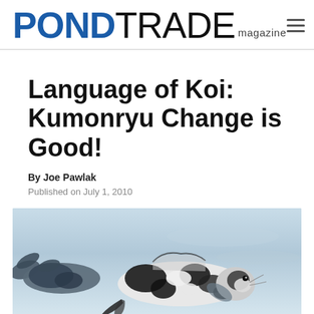PONDTRADE magazine
Language of Koi: Kumonryu Change is Good!
By Joe Pawlak
Published on July 1, 2010
[Figure (photo): Overhead view of a black and white Kumonryu koi fish swimming in a light blue/white water background]